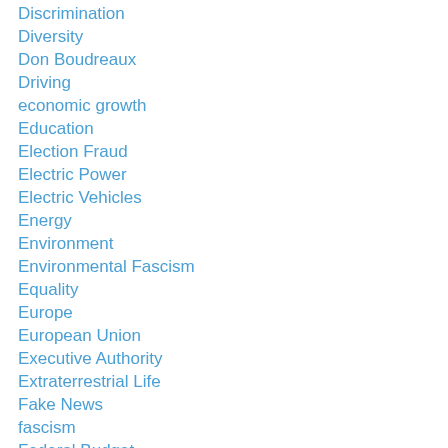Discrimination
Diversity
Don Boudreaux
Driving
economic growth
Education
Election Fraud
Electric Power
Electric Vehicles
Energy
Environment
Environmental Fascism
Equality
Europe
European Union
Executive Authority
Extraterrestrial Life
Fake News
fascism
Federal Budget